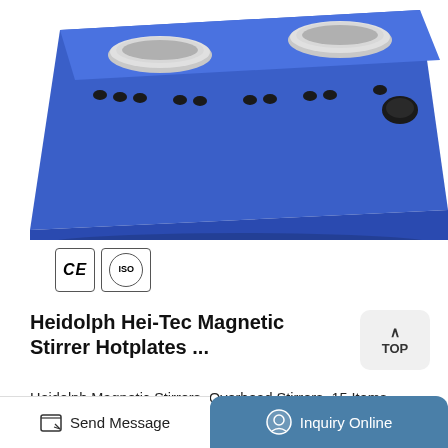[Figure (photo): Blue Heidolph Hei-Tec magnetic stirrer hotplate device viewed from above at an angle, showing silver circular stirring plates and black knobs on a blue metal body.]
[Figure (logo): CE certification mark and ISO certification mark badges]
Heidolph Hei-Tec Magnetic Stirrer Hotplates ...
Heidolph Magnetic Stirrers, Overhead Stirrers. 15 Items Model of stirrer. Laboratory stirrer 5. magnetic stirrer 9. ... (stirrer) 1400 rpm 8. 2000 rpm 5. 2200 rpm 2. Speed range min (stirrer) 10 rpm 4. 20 rpm 1. 30 rpm 8. 35 rpm 1. Heating. with hot plate 8. without heating 7. Protection category
Send Message
Inquiry Online